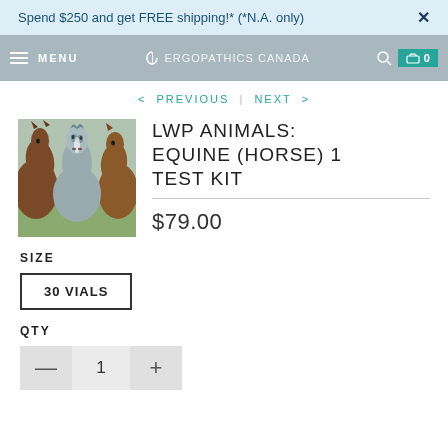Spend $250 and get FREE shipping!* (*N.A. only)
[Figure (screenshot): Navigation bar with hamburger menu icon, MENU text, Ergopathics Canada logo, search icon, and cart button showing 0 items]
< PREVIOUS | NEXT >
[Figure (photo): Three horses facing the camera in a field — a grey horse in the center flanked by two brown horses]
LWP ANIMALS: EQUINE (HORSE) 1 TEST KIT
$79.00
SIZE
30 VIALS
QTY
1